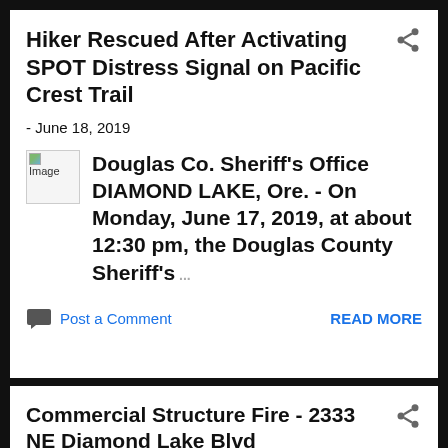Hiker Rescued After Activating SPOT Distress Signal on Pacific Crest Trail
- June 18, 2019
[Figure (photo): Broken/placeholder image thumbnail for article]
Douglas Co. Sheriff's Office DIAMOND LAKE, Ore.  - On Monday, June 17, 2019, at about 12:30 pm, the Douglas County Sheriff's ...
Post a Comment
READ MORE
Commercial Structure Fire - 2333 NE Diamond Lake Blvd